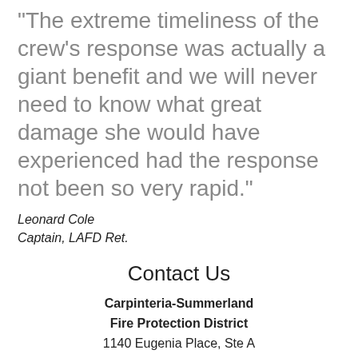response was actually a giant benefit and we will never need to know what great damage she would have experienced had the response not been so very rapid."
Leonard Cole
Captain, LAFD Ret.
Contact Us
Carpinteria-Summerland Fire Protection District
1140 Eugenia Place, Ste A
Carpinteria, CA 93013

Phone: (805) 684-4591
Fax: (805) 684-8242